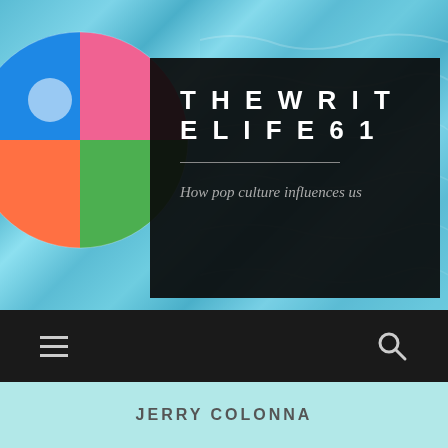[Figure (photo): Website header screenshot showing a blog called THEWRITELIFE61 with a pool/water background image and beach ball, black overlay box with site title and tagline 'How pop culture influences us', navigation bar with hamburger menu and search icon, light blue content area with 'JERRY COLONNA' category label, and white footer bar with Follow button]
THEWRITELIFE61
How pop culture influences us
JERRY COLONNA
Follow ...